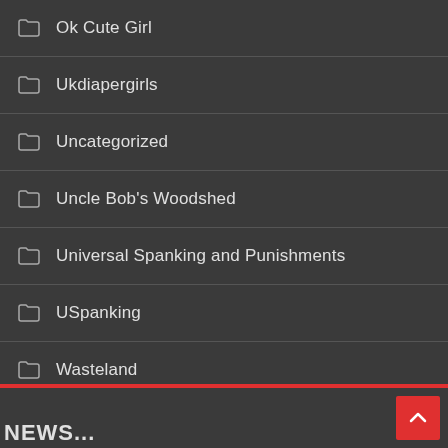Ok Cute Girl
Ukdiapergirls
Uncategorized
Uncle Bob's Woodshed
Universal Spanking and Punishments
USpanking
Wasteland
Well Spanked Bottom
Wellspanked
WhipMovies
WifeSpanks
Worst Behavior Productions
Zoe Page Collection
NEWS...